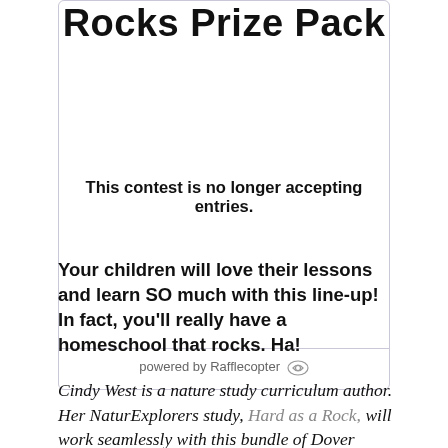Rocks Prize Pack
This contest is no longer accepting entries.
powered by Rafflecopter
Your children will love their lessons and learn SO much with this line-up! In fact, you’ll really have a homeschool that rocks. Ha!
Cindy West is a nature study curriculum author. Her NaturExplorers study, Hard as a Rock, will work seamlessly with this bundle of Dover books! At